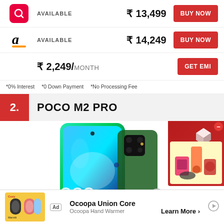AVAILABLE  ₹13,499  BUY NOW
AVAILABLE  ₹14,249  BUY NOW
₹2,249/ MONTH  GET EMI
*0% Interest  *0 Down Payment  *No Processing Fee
2. POCO M2 PRO
[Figure (photo): POCO M2 PRO smartphone in green color shown from the front, with quad camera setup visible on the back. Partial POCO branding visible at bottom. Side advertisement showing kitchen appliances.]
Ad  Ocoopa Union Core  Ocoopa Hand Warmer  Learn More >